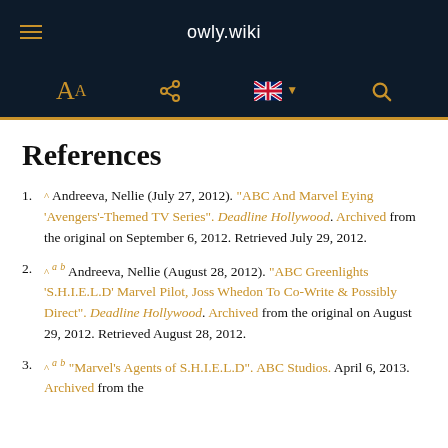owly.wiki
^ Andreeva, Nellie (July 27, 2012). "ABC And Marvel Eying 'Avengers'-Themed TV Series". Deadline Hollywood. Archived from the original on September 6, 2012. Retrieved July 29, 2012.
^ a b Andreeva, Nellie (August 28, 2012). "ABC Greenlights 'S.H.I.E.L.D' Marvel Pilot, Joss Whedon To Co-Write & Possibly Direct". Deadline Hollywood. Archived from the original on August 29, 2012. Retrieved August 28, 2012.
^ a b "Marvel's Agents of S.H.I.E.L.D". ABC Studios. April 6, 2013. Archived from the